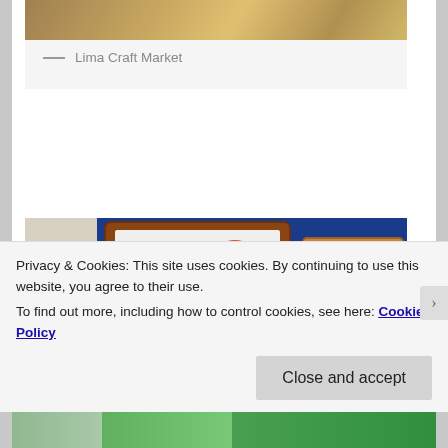[Figure (photo): Partially visible photo at top of page, appears to show a craft market with decorative items]
— Lima Craft Market
[Figure (photo): Photo of framed butterfly specimens including a large blue morpho butterfly in a wooden frame, with yellow and orange butterflies in smaller frames above]
Privacy & Cookies: This site uses cookies. By continuing to use this website, you agree to their use.
To find out more, including how to control cookies, see here: Cookie Policy
Close and accept